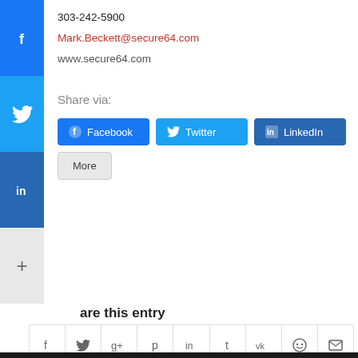303-242-5900
Mark.Beckett@secure64.com
www.secure64.com
Share via:
[Figure (screenshot): Social share buttons: Facebook (blue), Twitter (light blue), LinkedIn (dark blue), More (grey); plus vertical sidebar with Facebook, Twitter, LinkedIn, and More icons on the left]
are this entry
[Figure (infographic): Row of social sharing icons: Facebook (f), Twitter bird, Google+, Pinterest, LinkedIn, Tumblr, VK, Reddit, Email]